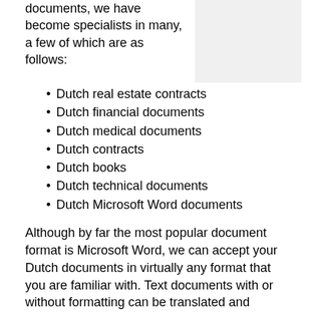documents, we have become specialists in many, a few of which are as follows:
[Figure (other): Light gray placeholder image in the top right area of the page]
Dutch real estate contracts
Dutch financial documents
Dutch medical documents
Dutch contracts
Dutch books
Dutch technical documents
Dutch Microsoft Word documents
Although by far the most popular document format is Microsoft Word, we can accept your Dutch documents in virtually any format that you are familiar with. Text documents with or without formatting can be translated and returned to you in the exact same format as the original (such is the case in standard translations), or we can convert them into various other document formats should you wish. In many cases we can include the typesetting of your Dutch document free of charge or at a marginal additional cost.